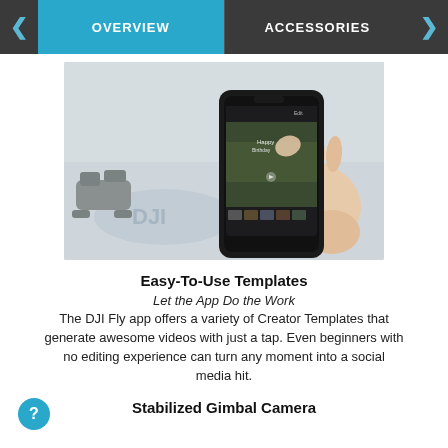OVERVIEW | ACCESSORIES
[Figure (photo): A hand holding a smartphone displaying the DJI Fly app with Creator Templates, with a DJI drone visible in the background on a light surface.]
Easy-To-Use Templates
Let the App Do the Work
The DJI Fly app offers a variety of Creator Templates that generate awesome videos with just a tap. Even beginners with no editing experience can turn any moment into a social media hit.
Stabilized Gimbal Camera